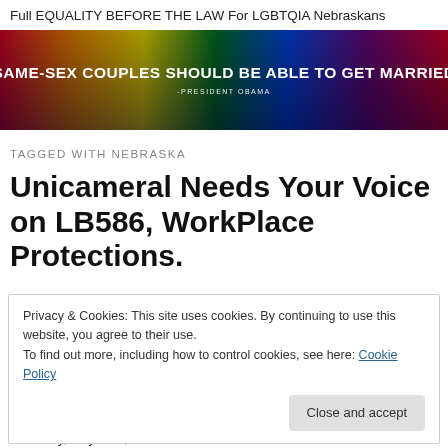Full EQUALITY BEFORE THE LAW For LGBTQIA Nebraskans
[Figure (illustration): Rainbow gradient banner with white bold text: 'SAME-SEX COUPLES SHOULD BE ABLE TO GET MARRIED' and attribution '-PRESIDENT OBAMA']
TAGGED WITH NEBRASKA
Unicameral Needs Your Voice on LB586, WorkPlace Protections.
Privacy & Cookies: This site uses cookies. By continuing to use this website, you agree to their use. To find out more, including how to control cookies, see here: Cookie Policy
Thursday, May 14th, the Unicameral will debate and vote...